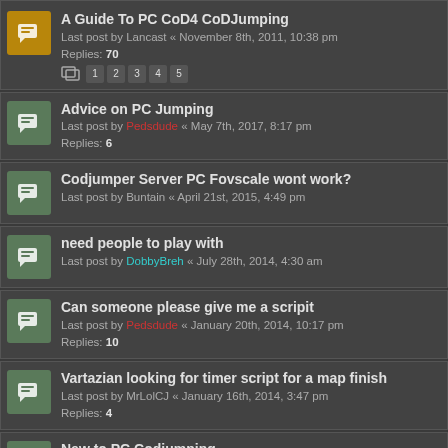A Guide To PC CoD4 CoDJumping
Last post by Lancast « November 8th, 2011, 10:38 pm
Replies: 70
Advice on PC Jumping
Last post by Pedsdude « May 7th, 2017, 8:17 pm
Replies: 6
Codjumper Server PC Fovscale wont work?
Last post by Buntain « April 21st, 2015, 4:49 pm
need people to play with
Last post by DobbyBreh « July 28th, 2014, 4:30 am
Can someone please give me a scripit
Last post by Pedsdude « January 20th, 2014, 10:17 pm
Replies: 10
Vartazian looking for timer script for a map finish
Last post by MrLolCJ « January 16th, 2014, 3:47 pm
Replies: 4
New to PC Codjumping
Last post by [SoE]_Zaitsev « December 22nd, 2013, 2:46 pm
Replies: 1